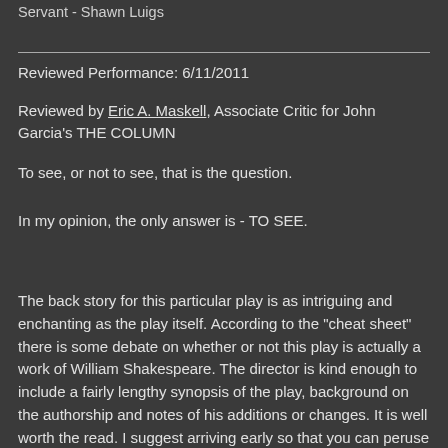Servant - Shawn Luigs
Reviewed Performance: 6/11/2011
Reviewed by Eric A. Maskell, Associate Critic for John Garcia's THE COLUMN
To see, or not to see, that is the question.
In my opinion, the only answer is - TO SEE.
The back story for this particular play is as intriguing and enchanting as the play itself. According to the "cheat sheet" there is some debate on whether or not this play is actually a work of William Shakespeare. The director is kind enough to include a fairly lengthy synopsis of the play, background on the authorship and notes of his additions or changes. It is well worth the read. I suggest arriving early so that you can peruse it because both my wife and I felt it was easier to follow